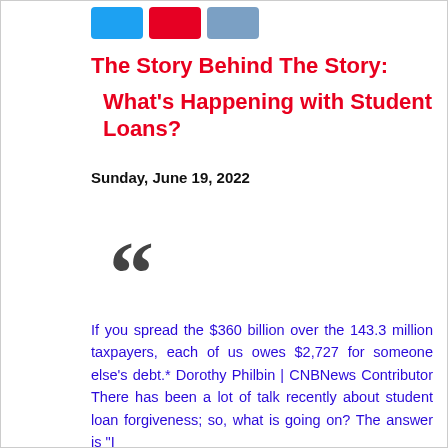[Figure (other): Social media share buttons for Twitter, Pinterest, and LinkedIn]
The Story Behind The Story:
 What's Happening with Student Loans?
Sunday, June 19, 2022
[Figure (illustration): Large decorative opening quotation mark in dark gray]
If you spread the $360 billion over the 143.3 million taxpayers, each of us owes $2,727 for someone else's debt.* Dorothy Philbin | CNBNews Contributor There has been a lot of talk recently about student loan forgiveness; so, what is going on? The answer is "I